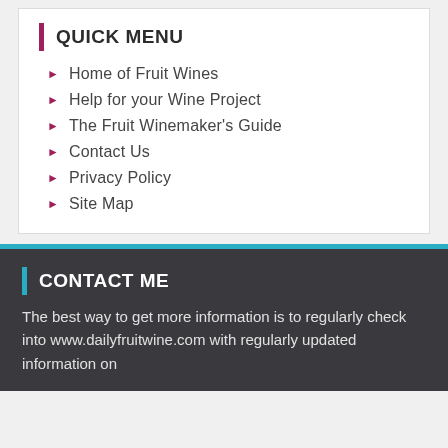QUICK MENU
Home of Fruit Wines
Help for your Wine Project
The Fruit Winemaker's Guide
Contact Us
Privacy Policy
Site Map
CONTACT ME
The best way to get more information is to regularly check into www.dailyfruitwine.com with regularly updated information on